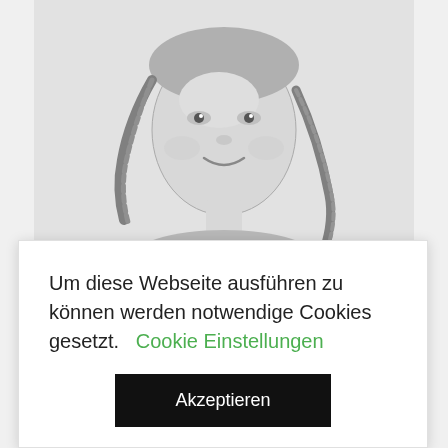[Figure (photo): Black and white photograph of a young girl with braided pigtails, smiling at the camera, wearing a patterned top.]
[Figure (photo): Whisky bottle product label showing 'SINGLE MALT SCOTCH WHISKY DISTILLED IN SPEYSIDE' with purple stylized text at top. A red 'SOLD OUT' diagonal banner overlays the product image.]
Um diese Webseite ausführen zu können werden notwendige Cookies gesetzt. Cookie Einstellungen
Akzeptieren
Single Malt Scotch Whisky